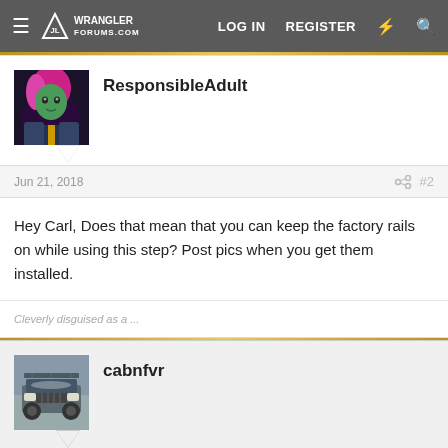Wrangler Forums — LOG IN  REGISTER
ResponsibleAdult
Jun 21, 2018  #2
Hey Carl, Does that mean that you can keep the factory rails on while using this step? Post pics when you get them installed.
Cleverly disguised as a ...
cabnfvr
Jun 21, 2018  #3